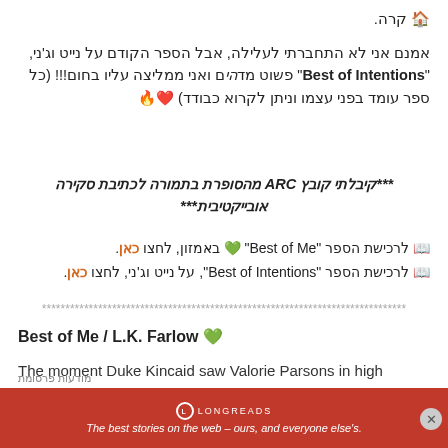🏠 קרה.
אמנם אני לא התחברתי לעלילה, אבל הספר הקודם על נייט וג'ני, "Best of Intentions" פשוט מדהים ואני ממליצה עליו בחום!!! (כל ספר עומד בפני עצמו וניתן לקרוא כבודד) ❤️🔥
***קיבלתי קובץ ARC מהסופרת בתמורה לכתיבת סקירה אובייקטיבית***
📖 לרכישת הספר "Best of Me" 💚 באמזון, לחצו כאן.
📖 לרכישת הספר "Best of Intentions", על נייט וג'ני, לחצו כאן.
******************************************************************************
Best of Me / L.K. Farlow 💚
The moment Duke Kincaid saw Valorie Parsons in high school, he knew she would be his wife. 11 years later, he is
מודעות פרסומת
[Figure (logo): Longreads advertisement banner: red background with Longreads logo and tagline 'The best stories on the web – ours, and everyone else's.']